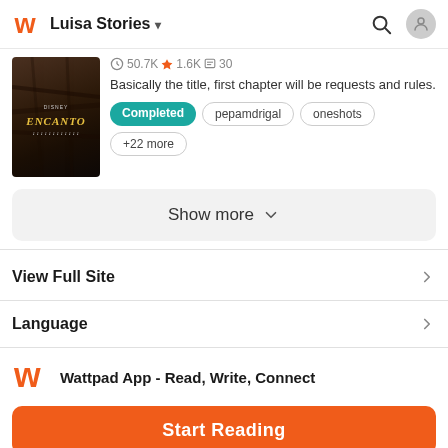Luisa Stories
50.7K 1.6K 30
Basically the title, first chapter will be requests and rules.
Completed  pepamdrigal  oneshots  +22 more
Show more
View Full Site
Language
Wattpad App - Read, Write, Connect
Start Reading
Log in with Browser